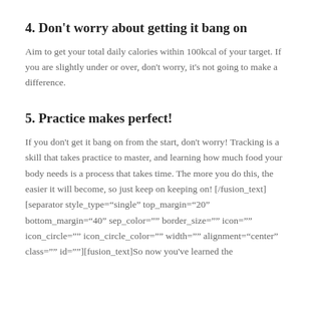4. Don't worry about getting it bang on
Aim to get your total daily calories within 100kcal of your target. If you are slightly under or over, don't worry, it's not going to make a difference.
5. Practice makes perfect!
If you don't get it bang on from the start, don't worry! Tracking is a skill that takes practice to master, and learning how much food your body needs is a process that takes time. The more you do this, the easier it will become, so just keep on keeping on! [/fusion_text][separator style_type="single" top_margin="20" bottom_margin="40" sep_color="" border_size="" icon="" icon_circle="" icon_circle_color="" width="" alignment="center" class="" id=""][fusion_text]So now you've learned the